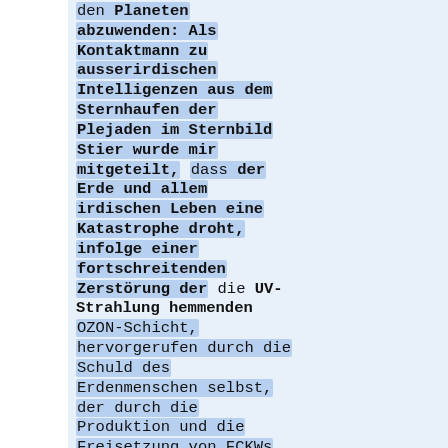den Planeten abzuwenden: Als Kontaktmann zu ausserirdischen Intelligenzen aus dem Sternhaufen der Plejaden im Sternbild Stier wurde mir mitgeteilt, dass der Erde und allem irdischen Leben eine Katastrophe droht, infolge einer fortschreitenden Zerstörung der die UV-Strahlung hemmenden OZON-Schicht, hervorgerufen durch die Schuld des Erdenmenschen selbst, der durch die Produktion und die Freisetzung von FCKWs in rapidem Masse die OZON-Schicht schädigt